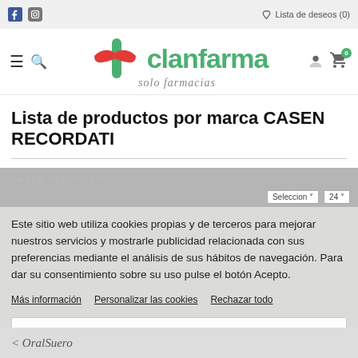Lista de deseos (0)
[Figure (logo): Clanfarma logo with pill/cross icon in red and green, text 'clanfarma' in green, tagline 'solo farmacias' in gray italic]
Lista de productos por marca CASEN RECORDATI
CASEN RECORDATI
Este sitio web utiliza cookies propias y de terceros para mejorar nuestros servicios y mostrarle publicidad relacionada con sus preferencias mediante el análisis de sus hábitos de navegación. Para dar su consentimiento sobre su uso pulse el botón Acepto.
Más información
Personalizar las cookies
Rechazar todo
ACEPTO